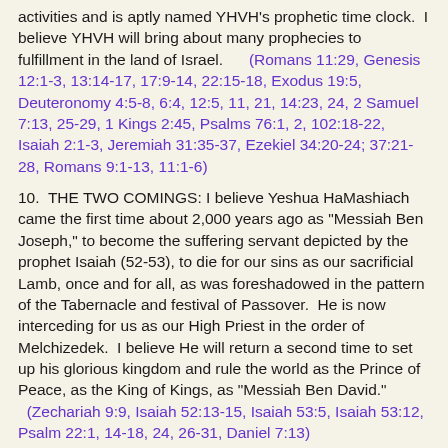activities and is aptly named YHVH's prophetic time clock.  I believe YHVH will bring about many prophecies to fulfillment in the land of Israel.      (Romans 11:29, Genesis 12:1-3, 13:14-17, 17:9-14, 22:15-18, Exodus 19:5, Deuteronomy 4:5-8, 6:4, 12:5, 11, 21, 14:23, 24, 2 Samuel 7:13, 25-29, 1 Kings 2:45, Psalms 76:1, 2, 102:18-22, Isaiah 2:1-3, Jeremiah 31:35-37, Ezekiel 34:20-24; 37:21-28, Romans 9:1-13, 11:1-6)
10.  THE TWO COMINGS: I believe Yeshua HaMashiach came the first time about 2,000 years ago as "Messiah Ben Joseph," to become the suffering servant depicted by the prophet Isaiah (52-53), to die for our sins as our sacrificial Lamb, once and for all, as was foreshadowed in the pattern of the Tabernacle and festival of Passover.  He is now interceding for us as our High Priest in the order of Melchizedek.  I believe He will return a second time to set up his glorious kingdom and rule the world as the Prince of Peace, as the King of Kings, as "Messiah Ben David."  (Zechariah 9:9, Isaiah 52:13-15, Isaiah 53:5, Isaiah 53:12, Psalm 22:1, 14-18, 24, 26-31, Daniel 7:13)